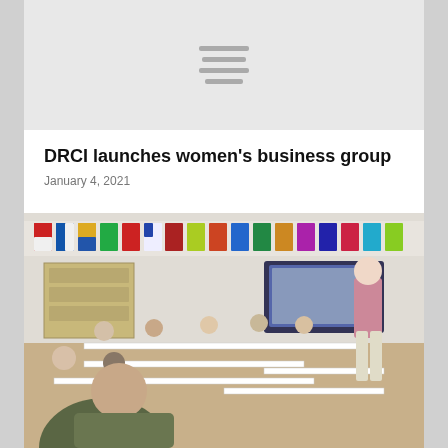[Figure (other): Gray header banner with hamburger/menu icon lines centered]
DRCI launches women's business group
January 4, 2021
[Figure (photo): A man in a pink shirt stands at the front of a meeting room decorated with nautical flags, presenting to a group of people seated around tables arranged in a U-shape, with a projection screen visible in the background.]